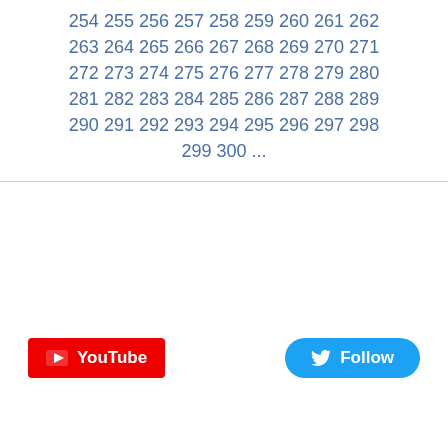254 255 256 257 258 259 260 261 262 263 264 265 266 267 268 269 270 271 272 273 274 275 276 277 278 279 280 281 282 283 284 285 286 287 288 289 290 291 292 293 294 295 296 297 298 299 300 ...
[Figure (other): YouTube button (red rounded rectangle with play icon and 'YouTube' text) and Twitter Follow button (blue pill-shaped with bird icon and 'Follow' text)]